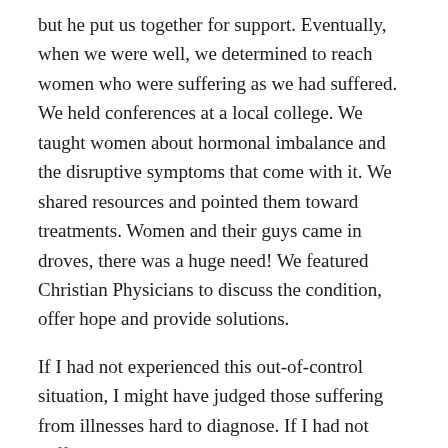but he put us together for support. Eventually, when we were well, we determined to reach women who were suffering as we had suffered. We held conferences at a local college. We taught women about hormonal imbalance and the disruptive symptoms that come with it. We shared resources and pointed them toward treatments. Women and their guys came in droves, there was a huge need! We featured Christian Physicians to discuss the condition, offer hope and provide solutions.
If I had not experienced this out-of-control situation, I might have judged those suffering from illnesses hard to diagnose. If I had not suffered, I'd have no clue how to help these women. God never wastes a Hurt!
SITUATION #3
Another Church called Gary to serve as Christian Ed